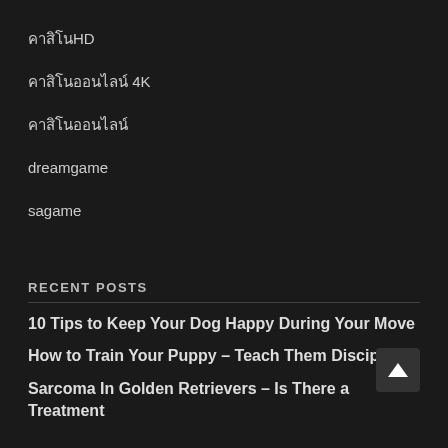คาสิโนHD
คาสิโนออนไลน์ 4K
คาสิโนออนไลน์
dreamgame
sagame
RECENT POSTS
10 Tips to Keep Your Dog Happy During Your Move
How to Train Your Puppy – Teach Them Discipline
Sarcoma In Golden Retrievers – Is There a Treatment